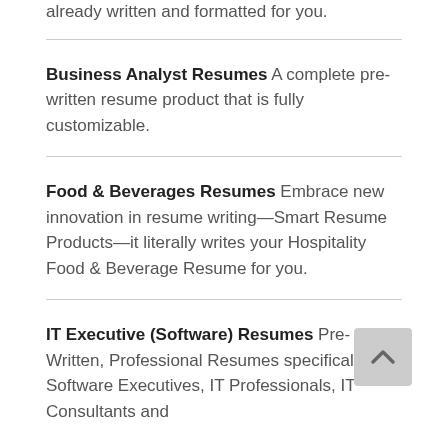already written and formatted for you.
Business Analyst Resumes A complete pre-written resume product that is fully customizable.
Food & Beverages Resumes Embrace new innovation in resume writing—Smart Resume Products—it literally writes your Hospitality Food & Beverage Resume for you.
IT Executive (Software) Resumes Pre-Written, Professional Resumes specifically for Software Executives, IT Professionals, IT Consultants and